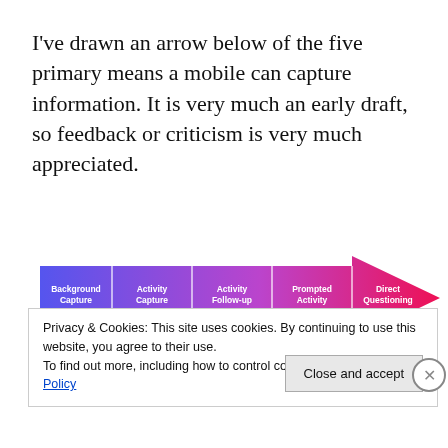I've drawn an arrow below of the five primary means a mobile can capture information. It is very much an early draft, so feedback or criticism is very much appreciated.
[Figure (infographic): A horizontal arrow graphic showing a gradient from blue to pink/red, with five sections labeled: Background Capture, Activity Capture, Activity Follow-up, Prompted Activity, Direct Questioning. Attribution: Simon Kendrick, http://curiouslypersistent.wordpress.com, April 2010]
Simon Kendrick, http://curiouslypersistent.wordpress.com, April 2010
Privacy & Cookies: This site uses cookies. By continuing to use this website, you agree to their use.
To find out more, including how to control cookies, see here: Cookie Policy